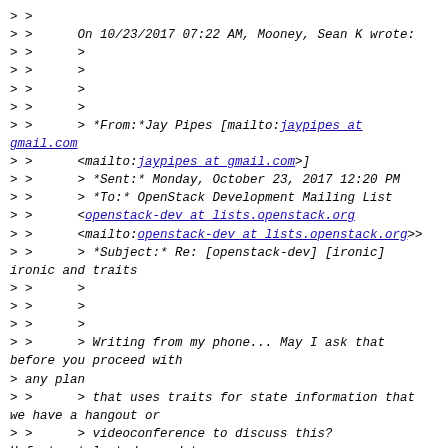> >
> >      On 10/23/2017 07:22 AM, Mooney, Sean K wrote:
> >      >
> >      >
> >      >
> >      >
> >      > *From:*Jay Pipes [mailto:jaypipes at gmail.com
> >      <mailto:jaypipes at gmail.com>]
> >      > *Sent:* Monday, October 23, 2017 12:20 PM
> >      > *To:* OpenStack Development Mailing List
> >      <openstack-dev at lists.openstack.org
> >      <mailto:openstack-dev at lists.openstack.org>>
> >      > *Subject:* Re: [openstack-dev] [ironic]
ironic and traits
> >      >
> >      >
> >      >
> >      > Writing from my phone... May I ask that
before you proceed with
> any plan
> >      > that uses traits for state information that
we have a hangout or
> >      > videoconference to discuss this?
Unfortunately today and tomorrow
> I'm
> >      > not able to do a hangout but I can do one on
Wednesday any time of
> the day.
> >      >